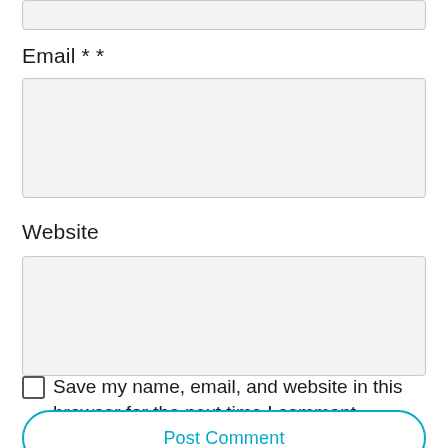[Figure (screenshot): Top of a partially visible input field (cut off at top of page)]
Email * *
[Figure (screenshot): Email input text box (empty, light gray background)]
Website
[Figure (screenshot): Website input text box (empty, light gray background)]
Save my name, email, and website in this browser for the next time I comment.
Post Comment